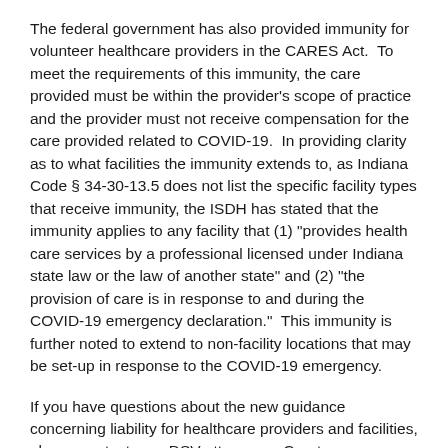The federal government has also provided immunity for volunteer healthcare providers in the CARES Act. To meet the requirements of this immunity, the care provided must be within the provider's scope of practice and the provider must not receive compensation for the care provided related to COVID-19. In providing clarity as to what facilities the immunity extends to, as Indiana Code § 34-30-13.5 does not list the specific facility types that receive immunity, the ISDH has stated that the immunity applies to any facility that (1) "provides health care services by a professional licensed under Indiana state law or the law of another state" and (2) "the provision of care is in response to and during the COVID-19 emergency declaration." This immunity is further noted to extend to non-facility locations that may be set-up in response to the COVID-19 emergency.
If you have questions about the new guidance concerning liability for healthcare providers and facilities, please contact your DSV attorney or Courtney McCormick at cmccormick@dsvlaw.com.